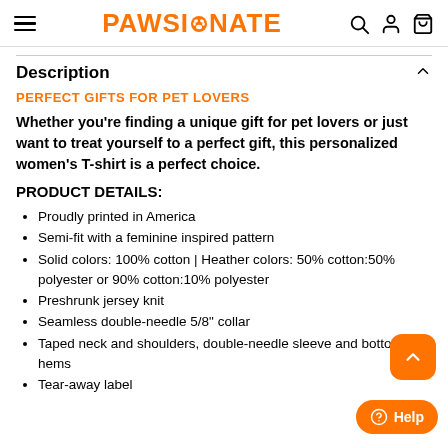PAWSIONATE
Description
PERFECT GIFTS FOR PET LOVERS
Whether you're finding a unique gift for pet lovers or just want to treat yourself to a perfect gift, this personalized women's T-shirt is a perfect choice.
PRODUCT DETAILS:
Proudly printed in America
Semi-fit with a feminine inspired pattern
Solid colors: 100% cotton | Heather colors: 50% cotton:50% polyester or 90% cotton:10% polyester
Preshrunk jersey knit
Seamless double-needle 5/8" collar
Taped neck and shoulders, double-needle sleeve and bottom hems
Tear-away label